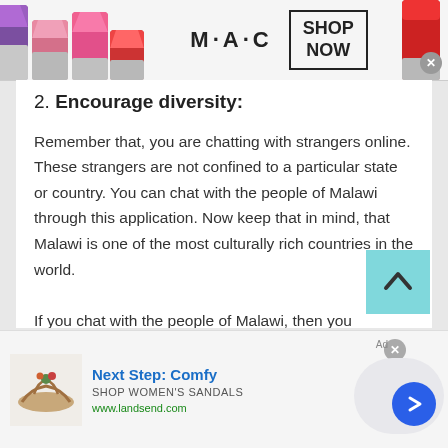[Figure (illustration): MAC cosmetics advertisement banner at top with lipsticks on left and right, MAC logo in center, and SHOP NOW button in a rectangle]
2. Encourage diversity:
Remember that, you are chatting with strangers online. These strangers are not confined to a particular state or country. You can chat with the people of Malawi through this application. Now keep that in mind, that Malawi is one of the most culturally rich countries in the world.
If you chat with the people of Malawi, then you
[Figure (illustration): Bottom advertisement for Lands' End women's sandals with shoe image, Next Step: Comfy headline, SHOP WOMEN'S SANDALS subtitle, and www.landsend.com URL]